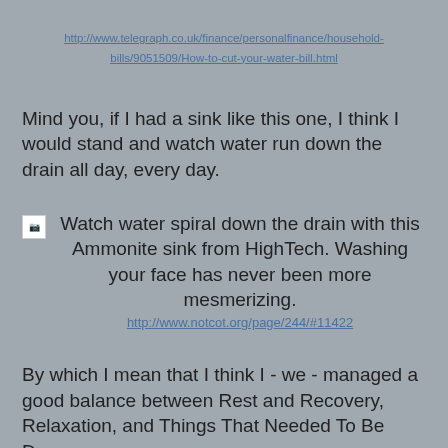http://www.telegraph.co.uk/finance/personalfinance/household-bills/9051509/How-to-cut-your-water-bill.html
Mind you, if I had a sink like this one, I think I would stand and watch water run down the drain all day, every day.
Watch water spiral down the drain with this Ammonite sink from HighTech. Washing your face has never been more mesmerizing.
http://www.notcot.org/page/244/#11422
By which I mean that I think I - we - managed a good balance between Rest and Recovery, Relaxation, and Things That Needed To Be Done.
I'm not sure what category to put the annual Women's World